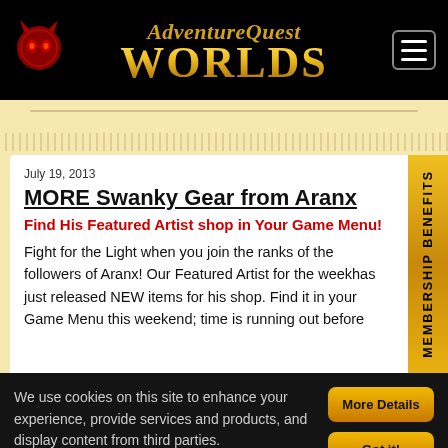AdventureQuest Worlds
July 19, 2013
MORE Swanky Gear from Aranx
Find His Featured Artist shop in Your Game Menu!
Fight for the Light when you join the ranks of the followers of Aranx! Our Featured Artist for the weekhas just released NEW items for his shop. Find it in your Game Menu this weekend; time is running out before
We use cookies on this site to enhance your experience, provide services and products, and display content from third parties. Cookie Policy.